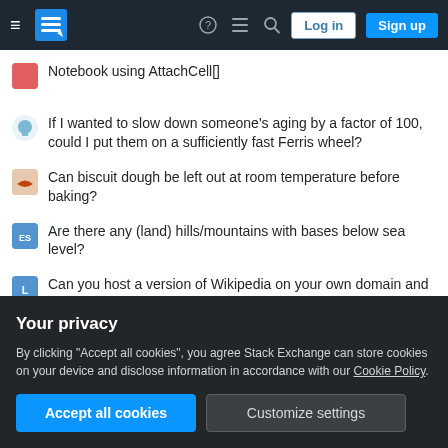Stack Exchange navigation bar with hamburger menu, logo, help, chat, search icons, Log in and Sign up buttons
Notebook using AttachCell[]
If I wanted to slow down someone's aging by a factor of 100, could I put them on a sufficiently fast Ferris wheel?
Can biscuit dough be left out at room temperature before baking?
Are there any (land) hills/mountains with bases below sea level?
Can you host a version of Wikipedia on your own domain and charge for it?
As a TA, how much information should I share with the professor about students?
Is objectivity necessary for anything beside communication?
closures vs the closures
Your privacy

By clicking "Accept all cookies", you agree Stack Exchange can store cookies on your device and disclose information in accordance with our Cookie Policy.

Accept all cookies   Customize settings